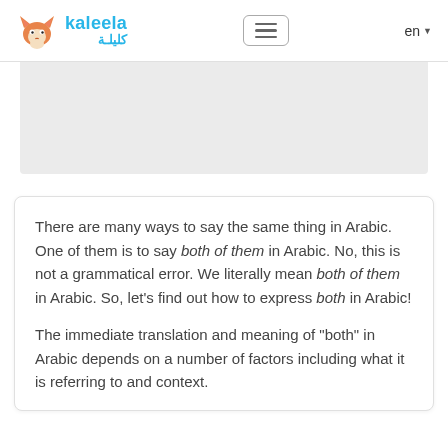kaleela كليلة — en
[Figure (other): Gray banner/advertisement placeholder area]
There are many ways to say the same thing in Arabic. One of them is to say both of them in Arabic. No, this is not a grammatical error. We literally mean both of them in Arabic. So, let's find out how to express both in Arabic!
The immediate translation and meaning of "both" in Arabic depends on a number of factors including what it is referring to and context.